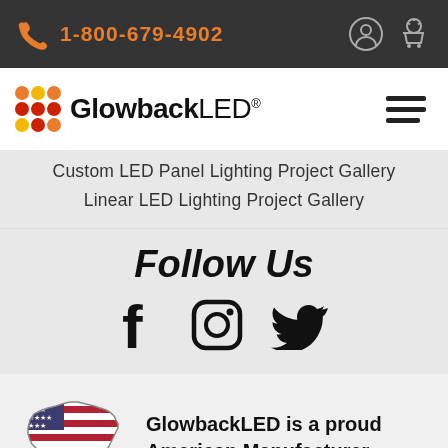1-800-679-4902
[Figure (logo): GlowbackLED logo with colorful dot grid and brand name]
Custom LED Panel Lighting Project Gallery
Linear LED Lighting Project Gallery
Follow Us
[Figure (illustration): Social media icons: Facebook, Instagram, Twitter]
[Figure (illustration): US flag shaped as USA map]
GlowbackLED is a proud American Manufacturer